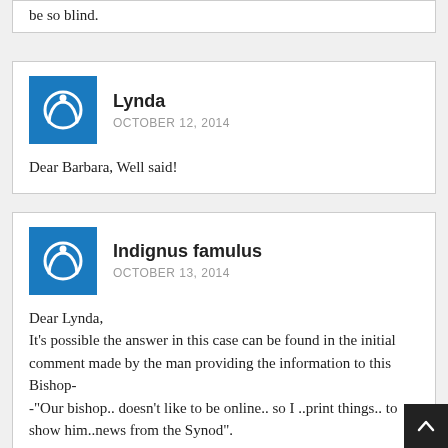be so blind.
Lynda
OCTOBER 12, 2014
Dear Barbara, Well said!
Indignus famulus
OCTOBER 13, 2014
Dear Lynda,
It's possible the answer in this case can be found in the initial comment made by the man providing the information to this Bishop-
-"Our bishop.. doesn't like to be online.. so I ..print things.. to show him..news from the Synod".
-With many newspapers going under, we don't know how anyone who avoids the internet can stay informed.